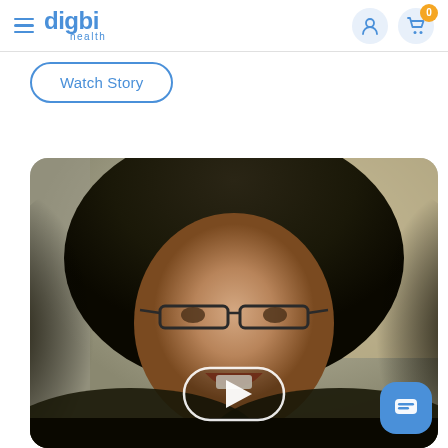digbi health — navigation bar with hamburger menu, user icon, cart icon (badge: 0)
Watch Story
[Figure (photo): Video thumbnail showing a smiling woman with curly dark hair and glasses, with a white play button overlay in the center. A blue chat button is visible in the bottom right corner.]